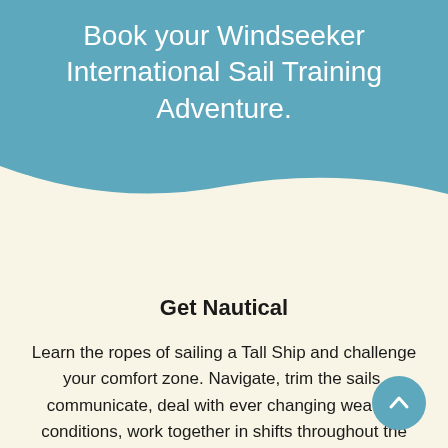Book your Windseeker International Sail Training Adventure.
Get Nautical
Learn the ropes of sailing a Tall Ship and challenge your comfort zone. Navigate, trim the sails, communicate, deal with ever changing weather conditions, work together in shifts throughout the day - and night. Get nautical.